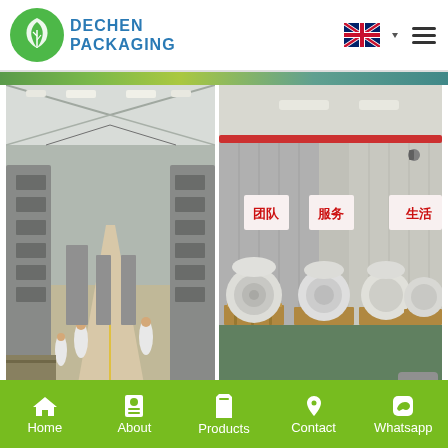DECHEN PACKAGING
[Figure (photo): Factory interior showing production line with workers and machinery in a large warehouse]
[Figure (photo): Warehouse storage area with large rolls of paper/material stacked on pallets, Chinese text signs on wall reading 团队 (team), 服务 (service), 生活 (life)]
Exhibition
Home  About  Products  Contact  Whatsapp